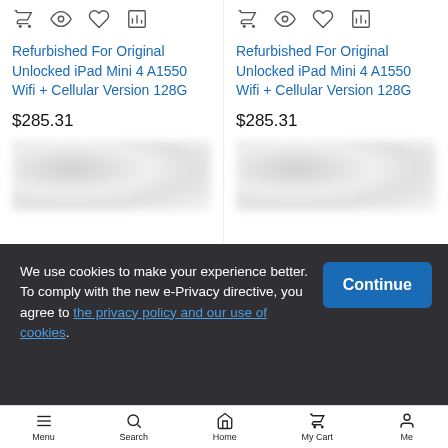[Figure (screenshot): E-commerce product listing page showing two identical products: Refurbished For Original Unlocked iPad Mini 4 A1550 Wifi + Cellular Version 128G priced at $285.31 each, with action icons (cart, eye, heart, chart) above each listing]
We use cookies to make your experience better. To comply with the new e-Privacy directive, you agree to the privacy policy and our use of cookies.
Continue
Menu  Search  Home  My Cart  Me